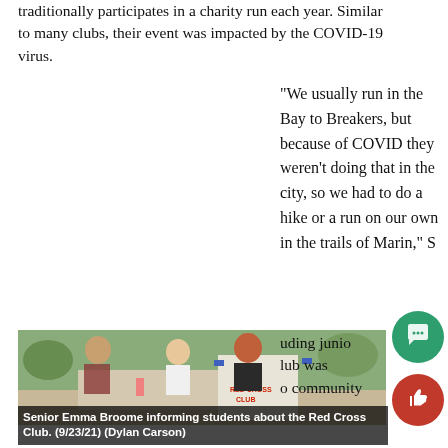traditionally participates in a charity run each year. Similar to many clubs, their event was impacted by the COVID-19 virus.
“We usually run in the Bay to Breakers, but because of COVID they weren’t doing that in the city, so we had to do a hike or a run on our own in the trails of Marin,” S
[Figure (photo): Senior Emma Broome standing at a table with a Red Cross Club sign, informing students about the club. Several other students are visible in the background outdoors.]
Senior Emma Broome informing students about the Red Cross Club. (9/23/21) (Dylan Carson)
uding junio lub was o community